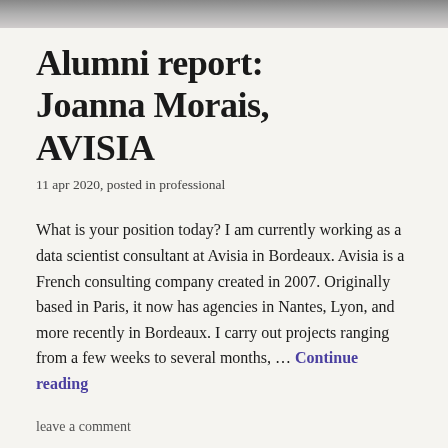[Figure (photo): Partial photo strip at the top of the page showing a person, cropped]
Alumni report: Joanna Morais, AVISIA
11 apr 2020, posted in professional
What is your position today? I am currently working as a data scientist consultant at Avisia in Bordeaux. Avisia is a French consulting company created in 2007. Originally based in Paris, it now has agencies in Nantes, Lyon, and more recently in Bordeaux. I carry out projects ranging from a few weeks to several months, … Continue reading
leave a comment